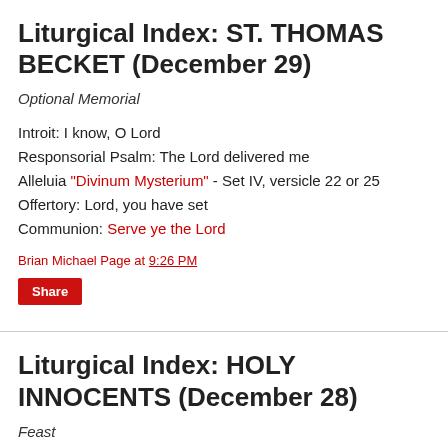Liturgical Index: ST. THOMAS BECKET (December 29)
Optional Memorial
Introit: I know, O Lord
Responsorial Psalm: The Lord delivered me
Alleluia "Divinum Mysterium" - Set IV, versicle 22 or 25
Offertory: Lord, you have set
Communion: Serve ye the Lord
Brian Michael Page at 9:26 PM
Share
Liturgical Index: HOLY INNOCENTS (December 28)
Feast